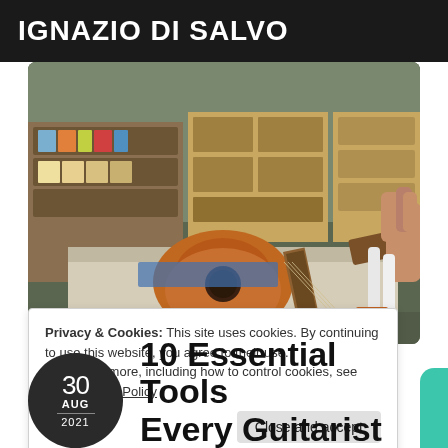IGNAZIO DI SALVO
[Figure (photo): A guitar workshop scene with an acoustic guitar on a workbench, tools and storage shelves in the background, and a person's hand visible on the right side holding a tool.]
Privacy & Cookies: This site uses cookies. By continuing to use this website, you agree to their use.
To find out more, including how to control cookies, see here: Cookie Policy
Close and accept
30 AUG 2021
10 Essential Tools Every Guitarist